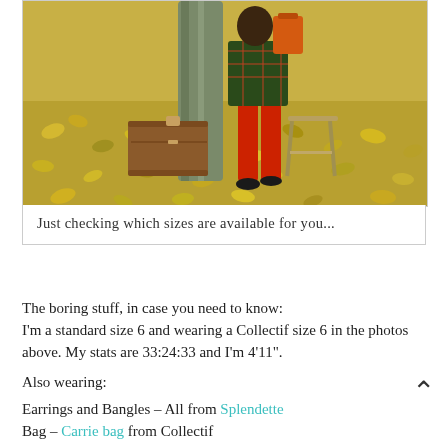[Figure (photo): Person in red tights and plaid jacket standing by a tree in autumn leaves, next to a brown vintage suitcase and wooden stool, in an outdoor park setting.]
Just checking which sizes are available for you...
The boring stuff, in case you need to know:
I'm a standard size 6 and wearing a Collectif size 6 in the photos above. My stats are 33:24:33 and I'm 4'11".
Also wearing:
Earrings and Bangles – All from Splendette
Bag – Carrie bag from Collectif
Hair Flower – Miss Bella's Blooms